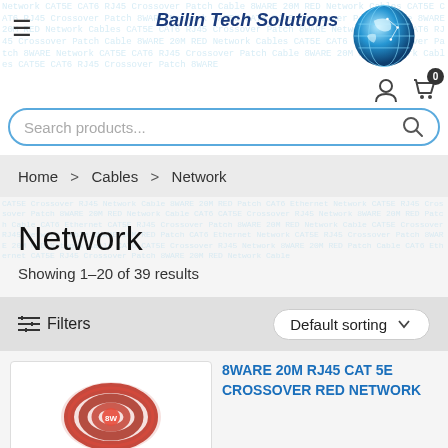[Figure (logo): Bailin Tech Solutions logo with globe graphic and italic bold text]
Search products...
Home > Cables > Network
Network
Showing 1–20 of 39 results
Filters   Default sorting
8WARE 20M RJ45 CAT 5E CROSSOVER RED NETWORK